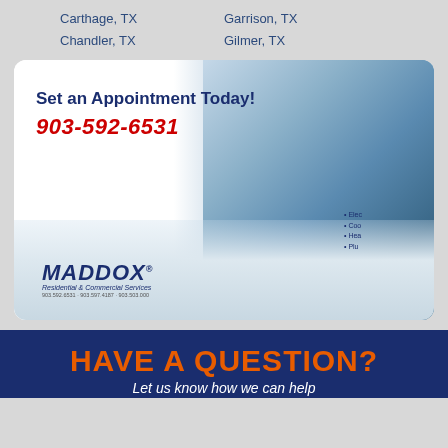Carthage, TX
Chandler, TX
Garrison, TX
Gilmer, TX
[Figure (photo): Maddox Residential & Commercial Services advertisement showing a smiling technician in a navy polo shirt with Maddox logo, standing in front of a white Maddox service truck. Text overlay reads 'Set an Appointment Today!' and phone number 903-592-6531.]
HAVE A QUESTION?
Let us know how we can help